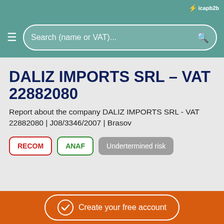icapb2b
Search (name or VAT)...
DALIZ IMPORTS SRL - VAT 22882080
Report about the company DALIZ IMPORTS SRL - VAT 22882080 | J08/3346/2007 | Brasov
RECOM | ANAF | Undertermined risk
Create your free account